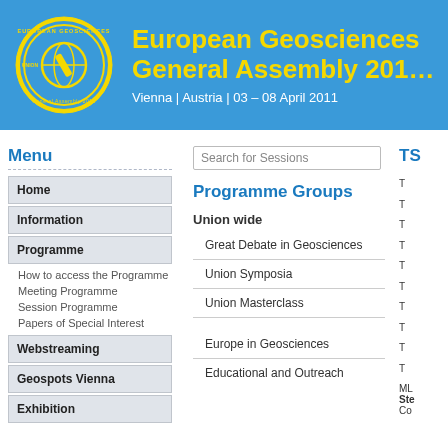[Figure (logo): European Geosciences Union logo — circular yellow emblem on blue background]
European Geosciences Union General Assembly 2011
Vienna | Austria | 03 – 08 April 2011
Menu
Home
Information
Programme
How to access the Programme
Meeting Programme
Session Programme
Papers of Special Interest
Webstreaming
Geospots Vienna
Exhibition
Search for Sessions
Programme Groups
Union wide
Great Debate in Geosciences
Union Symposia
Union Masterclass
Europe in Geosciences
Educational and Outreach
TS
T
T
T
T
T
T
T
T
T
T
ML
Ste
Co